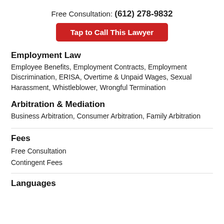Free Consultation: (612) 278-9832
Tap to Call This Lawyer
Employment Law
Employee Benefits, Employment Contracts, Employment Discrimination, ERISA, Overtime & Unpaid Wages, Sexual Harassment, Whistleblower, Wrongful Termination
Arbitration & Mediation
Business Arbitration, Consumer Arbitration, Family Arbitration
Fees
Free Consultation
Contingent Fees
Languages